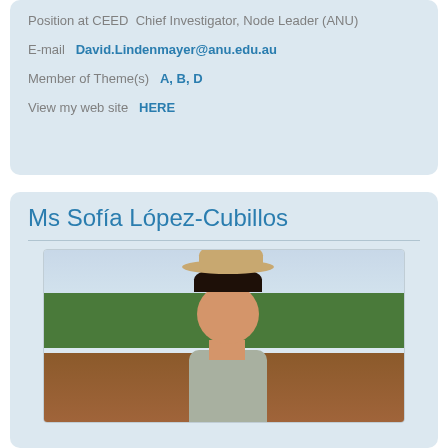Position at CEED  Chief Investigator, Node Leader (ANU)
E-mail  David.Lindenmayer@anu.edu.au
Member of Theme(s)  A, B, D
View my web site  HERE
Ms Sofía López-Cubillos
[Figure (photo): Portrait photo of Ms Sofía López-Cubillos wearing a tan bucket hat and grey shirt, smiling outdoors with vegetation and reddish-brown ground in background]